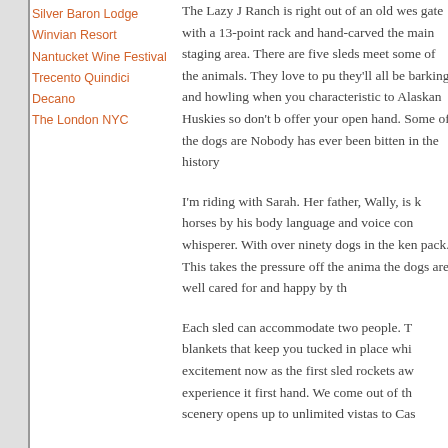Silver Baron Lodge
Winvian Resort
Nantucket Wine Festival
Trecento Quindici Decano
The London NYC
The Lazy J Ranch is right out of an old wes gate with a 13-point rack and hand-carved the main staging area. There are five sleds meet some of the animals. They love to pu they'll all be barking and howling when you characteristic to Alaskan Huskies so don't b offer your open hand. Some of the dogs are Nobody has ever been bitten in the history
I'm riding with Sarah. Her father, Wally, is k horses by his body language and voice con whisperer. With over ninety dogs in the ken pack. This takes the pressure off the anima the dogs are well cared for and happy by th
Each sled can accommodate two people. T blankets that keep you tucked in place whi excitement now as the first sled rockets aw experience it first hand. We come out of th scenery opens up to unlimited vistas to Cas